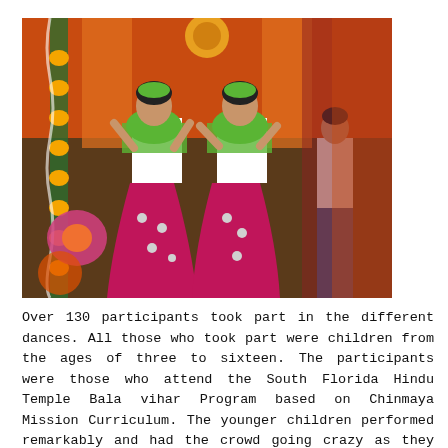[Figure (photo): Two women in traditional Indian Rajasthani dance costumes (bright pink/magenta skirts, green dupattas, white blouses) dancing on a stage decorated with marigold garlands and colorful backdrops. A third performer in white is visible in the background.]
Over 130 participants took part in the different dances. All those who took part were children from the ages of three to sixteen. The participants were those who attend the South Florida Hindu Temple Bala vihar Program based on Chinmaya Mission Curriculum. The younger children performed remarkably and had the crowd going crazy as they reflected the culture that every parent wants to see in their child. The dances were choreographed by our very own parents and volunteers from the temple. Each choreographer did a simply stunning job in reflecting the arts and values of the region and the overall beauty as they found stirring songs that captured the crowd, organized costumes which were innate to the type of dance the